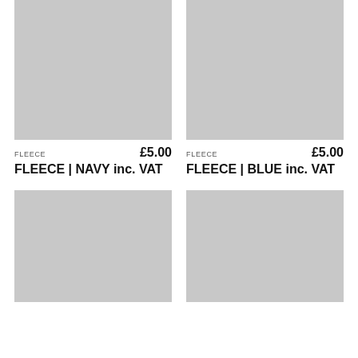[Figure (photo): Grey placeholder image for FLEECE NAVY product]
[Figure (photo): Grey placeholder image for FLEECE BLUE product]
FLEECE £5.00 FLEECE | NAVY inc. VAT
FLEECE £5.00 FLEECE | BLUE inc. VAT
[Figure (photo): Grey placeholder image for third product]
[Figure (photo): Grey placeholder image for fourth product]